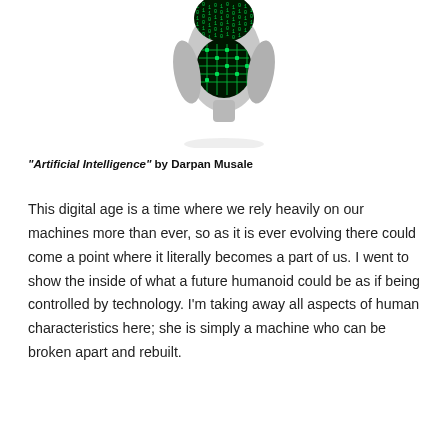[Figure (illustration): A black and white digital art illustration of a humanoid figure with the face obscured by green Matrix-style falling code, and the chest/torso area revealing a green circuit board pattern inside — representing artificial intelligence and the merging of human and machine.]
“Artificial Intelligence” by Darpan Musale
This digital age is a time where we rely heavily on our machines more than ever, so as it is ever evolving there could come a point where it literally becomes a part of us. I went to show the inside of what a future humanoid could be as if being controlled by technology. I’m taking away all aspects of human characteristics here; she is simply a machine who can be broken apart and rebuilt.